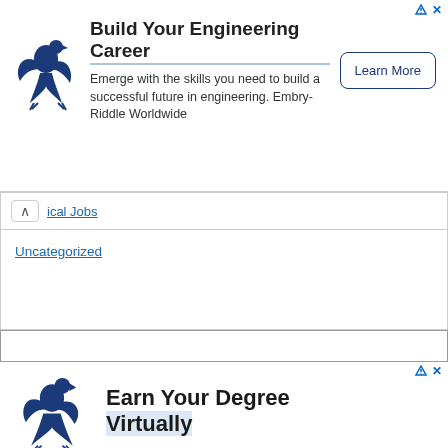[Figure (illustration): Embry-Riddle Worldwide eagle logo and advertisement banner: 'Build Your Engineering Career' with tagline 'Emerge with the skills you need to build a successful future in engineering. Embry-Riddle Worldwide' and a 'Learn More' button]
ical Jobs
Uncategorized
[Figure (illustration): Embry-Riddle Worldwide eagle logo and advertisement: 'Earn Your Degree Virtually' with text 'Gain the knowledge and skills desired by leading space companies and agencies.' and 'Embry-Riddle Worldwide']